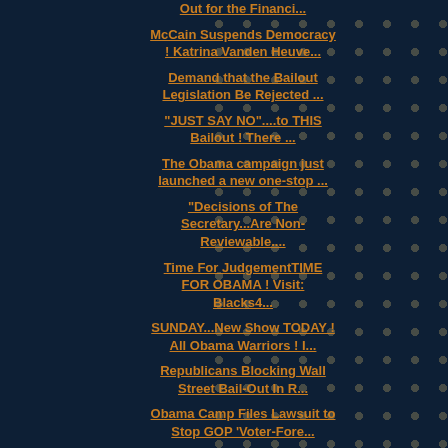Out for the Financi...
McCain Suspends Democracy ! Katrina Vanden Heuve...
Demand that the Bailout Legislation Be Rejected ...
"JUST SAY NO"....to THIS Bailout ! There ...
The Obama campaign just launched a new one-stop ...
"Decisions of The Secretary...Are Non-Reviewable....
Time For JudgementTIME FOR OBAMA ! Visit: Blacks4...
SUNDAY...New Show TODAY ! All Obama Warriors ! I...
Republicans Blocking Wall Street Bail-Out In R...
Obama Camp Files Lawsuit to Stop GOP 'Voter-Fore...
Why Are The Polls So Close ? Article By: Bob...